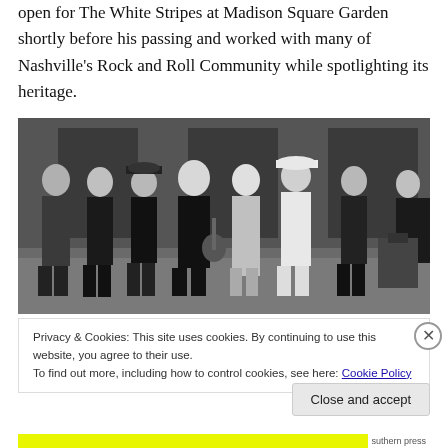open for The White Stripes at Madison Square Garden shortly before his passing and worked with many of Nashville's Rock and Roll Community while spotlighting its heritage.
[Figure (photo): Black and white group photo of seven musicians posing together in what appears to be a studio or venue setting.]
Privacy & Cookies: This site uses cookies. By continuing to use this website, you agree to their use.
To find out more, including how to control cookies, see here: Cookie Policy
Close and accept